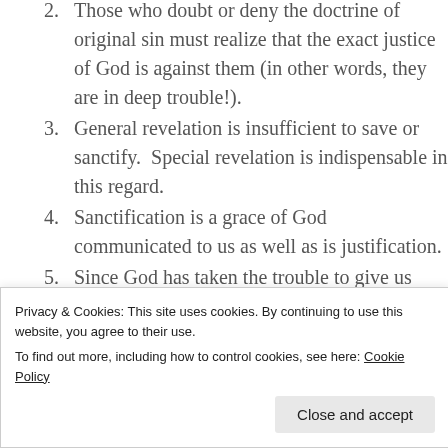2. Those who doubt or deny the doctrine of original sin must realize that the exact justice of God is against them (in other words, they are in deep trouble!).
3. General revelation is insufficient to save or sanctify.  Special revelation is indispensable in this regard.
4. Sanctification is a grace of God communicated to us as well as is justification.
5. Since God has taken the trouble to give us plentiful instruction in righteousness in the holy scriptures, it is incumbent on us to sit down at his feet and learn it.
Privacy & Cookies: This site uses cookies. By continuing to use this website, you agree to their use.
To find out more, including how to control cookies, see here: Cookie Policy